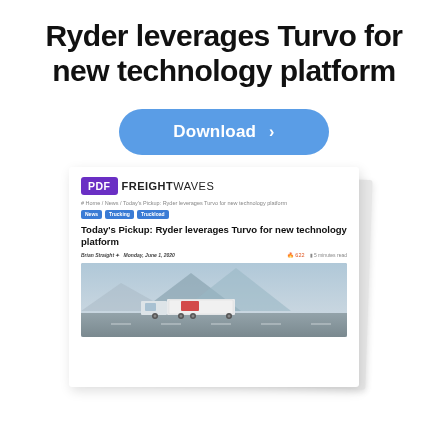Ryder leverages Turvo for new technology platform
[Figure (other): Blue rounded download button with text 'Download >']
[Figure (screenshot): Preview of a FreightWaves PDF article titled 'Today's Pickup: Ryder leverages Turvo for new technology platform' by Brian Straight, Monday June 1, 2020, showing article tags (News, Trucking, Truckload) and a photo of a Ryder truck driving on a highway with mountains in the background.]